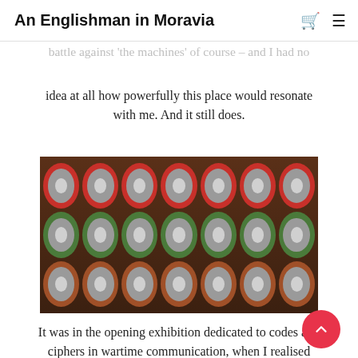An Englishman in Moravia
idea at all how powerfully this place would resonate with me. And it still does.
[Figure (photo): Rows of Enigma machine rotors/drums arranged in a grid, showing red, green, and brown/orange colored drums with metal contacts and central mechanisms visible from the top.]
It was in the opening exhibition dedicated to codes and ciphers in wartime communication, when I realised that this place is, first and foremost, about people. The